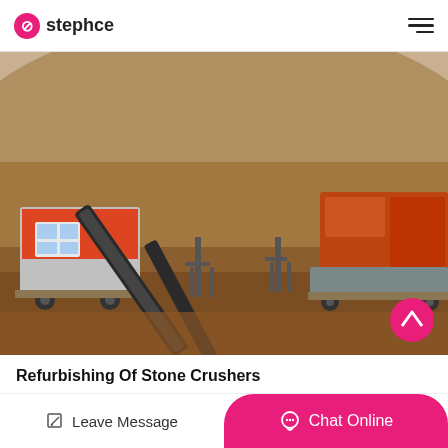stephce
[Figure (photo): Outdoor stone crusher plant at a quarry site. Shows industrial machinery including conveyor belts, crushers in orange/red, and heavy equipment set against a reddish-brown hillside backdrop. A person is visible near the conveyor system in the middle ground.]
Refurbishing Of Stone Crushers
Leave Message   Chat Online